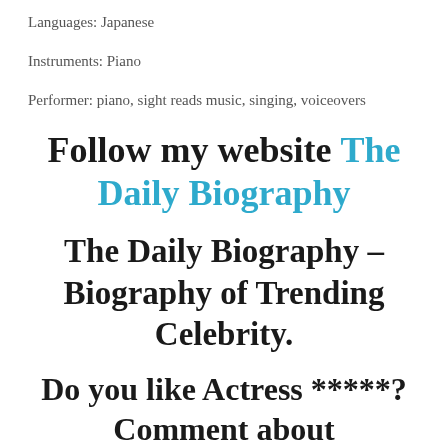Languages: Japanese
Instruments: Piano
Performer: piano, sight reads music, singing, voiceovers
Follow my website The Daily Biography
The Daily Biography – Biography of Trending Celebrity.
Do you like Actress *****? Comment about